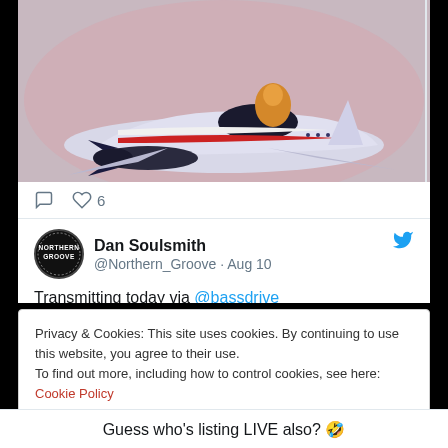[Figure (illustration): Partial view of a retro/sci-fi style illustration showing a futuristic jet or spacecraft with white, blue and red markings, with a figure visible on top, on a pink/purple background.]
♡ 6
Dan Soulsmith @Northern_Groove · Aug 10
Transmitting today via @bassdrive
Privacy & Cookies: This site uses cookies. By continuing to use this website, you agree to their use.
To find out more, including how to control cookies, see here: Cookie Policy
Close and accept
Guess who's listing LIVE also? 🤣